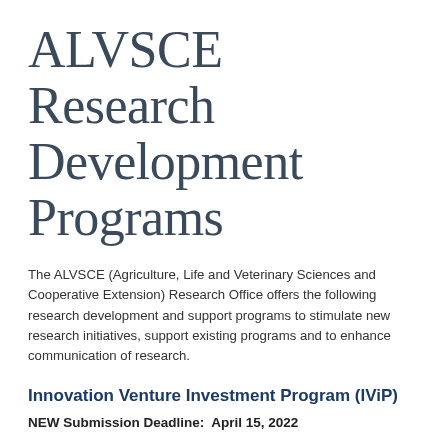ALVSCE Research Development Programs
The ALVSCE (Agriculture, Life and Veterinary Sciences and Cooperative Extension) Research Office offers the following research development and support programs to stimulate new research initiatives, support existing programs and to enhance communication of research.
Innovation Venture Investment Program (IViP)
NEW Submission Deadline:  April 15, 2022